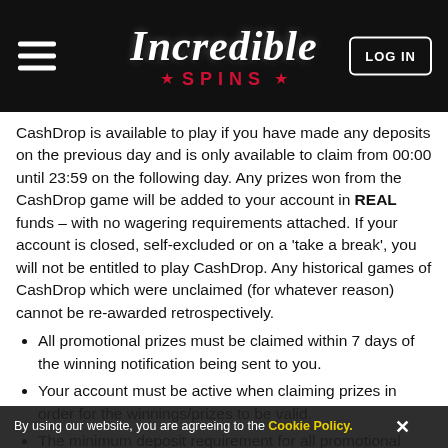[Figure (logo): Incredible Spins casino logo with hamburger menu and LOG IN button on black header]
CashDrop is available to play if you have made any deposits on the previous day and is only available to claim from 00:00 until 23:59 on the following day. Any prizes won from the CashDrop game will be added to your account in REAL funds – with no wagering requirements attached. If your account is closed, self-excluded or on a 'take a break', you will not be entitled to play CashDrop. Any historical games of CashDrop which were unclaimed (for whatever reason) cannot be re-awarded retrospectively.
All promotional prizes must be claimed within 7 days of the winning notification being sent to you.
Your account must be active when claiming prizes in order for the winnings/prizes to be valid.
The minimum deposit requirement for all promotional offers is £10 unless otherwise stated in the promotional communication.
By using our website, you are agreeing to the Cookie Policy.